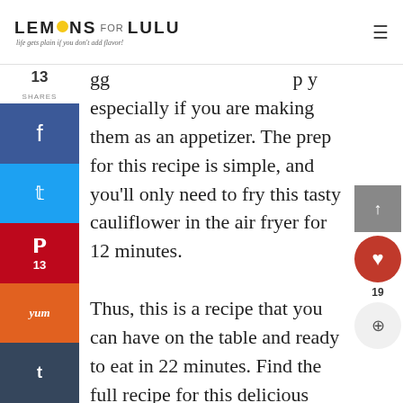LEMONS FOR LULU — life gets plain if you don't add flavor!
gg ... p y especially if you are making them as an appetizer. The prep for this recipe is simple, and you'll only need to fry this tasty cauliflower in the air fryer for 12 minutes.

Thus, this is a recipe that you can have on the table and ready to eat in 22 minutes. Find the full recipe for this delicious dish on Delish.